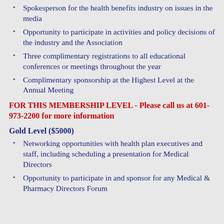Spokesperson for the health benefits industry on issues in the media
Opportunity to participate in activities and policy decisions of the industry and the Association
Three complimentary registrations to all educational conferences or meetings throughout the year
Complimentary sponsorship at the Highest Level at the Annual Meeting
FOR THIS MEMBERSHIP LEVEL - Please call us at 601-973-2200 for more information
Gold Level ($5000)
Networking opportunities with health plan executives and staff, including scheduling a presentation for Medical Directors
Opportunity to participate in and sponsor for any Medical & Pharmacy Directors Forum